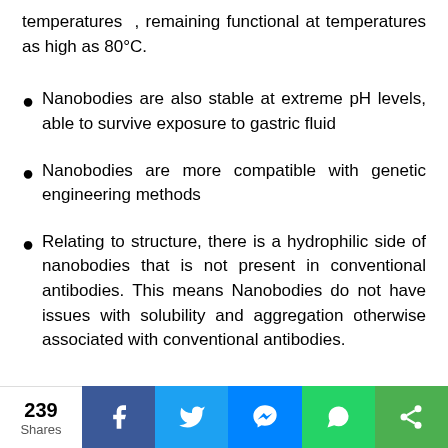temperatures , remaining functional at temperatures as high as 80°C.
Nanobodies are also stable at extreme pH levels, able to survive exposure to gastric fluid
Nanobodies are more compatible with genetic engineering methods
Relating to structure, there is a hydrophilic side of nanobodies that is not present in conventional antibodies. This means Nanobodies do not have issues with solubility and aggregation otherwise associated with conventional antibodies.
239 Shares | Facebook | Twitter | Messenger | WhatsApp | Share